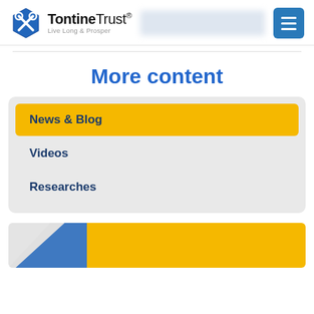Tontine Trust® — Live Long & Prosper
More content
News & Blog
Videos
Researches
[Figure (illustration): Bottom partial image strip with blue and yellow sections]